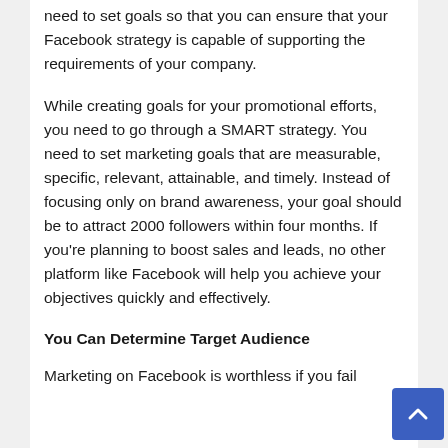need to set goals so that you can ensure that your Facebook strategy is capable of supporting the requirements of your company.
While creating goals for your promotional efforts, you need to go through a SMART strategy. You need to set marketing goals that are measurable, specific, relevant, attainable, and timely. Instead of focusing only on brand awareness, your goal should be to attract 2000 followers within four months. If you're planning to boost sales and leads, no other platform like Facebook will help you achieve your objectives quickly and effectively.
You Can Determine Target Audience
Marketing on Facebook is worthless if you fail